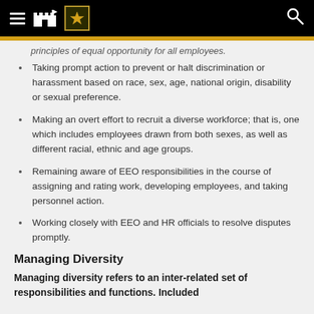U.S. Army navigation bar with hamburger menu, castle icon, Army star badge, and search icon
principles of equal opportunity for all employees.
Taking prompt action to prevent or halt discrimination or harassment based on race, sex, age, national origin, disability or sexual preference.
Making an overt effort to recruit a diverse workforce; that is, one which includes employees drawn from both sexes, as well as different racial, ethnic and age groups.
Remaining aware of EEO responsibilities in the course of assigning and rating work, developing employees, and taking personnel action.
Working closely with EEO and HR officials to resolve disputes promptly.
Managing Diversity
Managing diversity refers to an inter-related set of responsibilities and functions. Included